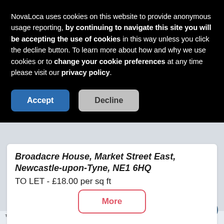NovaLoca uses cookies on this website to provide anonymous usage reporting, by continuing to navigate this site you will be accepting the use of cookies in this way unless you click the decline button. To learn more about how and why we use cookies or to change your cookie preferences at any time please visit our privacy policy.
[Figure (screenshot): Accept and Decline buttons for cookie consent]
Broadacre House, Market Street East, Newcastle-upon-Tyne, NE1 6HQ
TO LET - £18.00 per sq ft
[Figure (screenshot): More button (red outline) for the property listing]
[Figure (screenshot): Bottom strip with Free Office logo, building photo, scroll up and heart/save buttons]